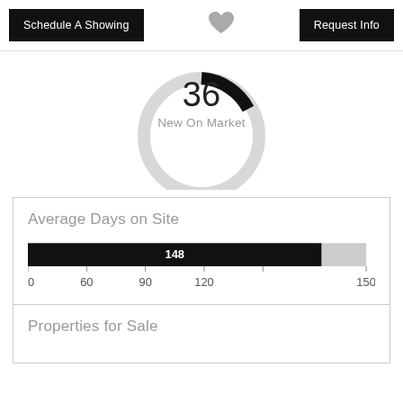Schedule A Showing
[Figure (other): Heart/favorite icon in gray]
Request Info
[Figure (donut-chart): Donut chart showing 36 New On Market, mostly gray with small black arc]
Average Days on Site
[Figure (bar-chart): Horizontal bar chart showing 148 average days on site, black bar with small gray remainder]
Properties for Sale